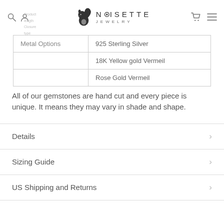Noisette Jewelry — navigation header with logo
| Metal Options |  |
| --- | --- |
| Metal Options | 925 Sterling Silver |
|  | 18K Yellow gold Vermeil |
|  | Rose Gold Vermeil |
All of our gemstones are hand cut and every piece is unique. It means they may vary in shade and shape.
Details
Sizing Guide
US Shipping and Returns